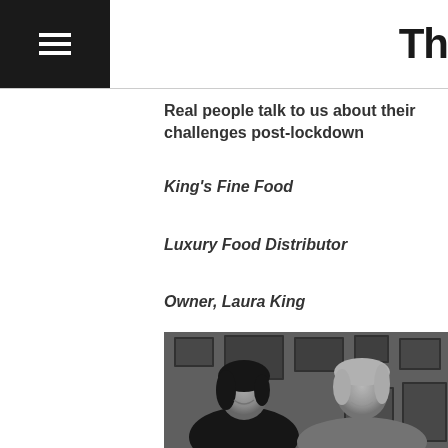Th
Real people talk to us about their challenges post-lockdown
King's Fine Food
Luxury Food Distributor
Owner, Laura King
[Figure (photo): Black and white photo of two women laughing together, surrounded by framed photographs on the wall behind them. The woman on the left has dark hair and is wearing a black outfit, holding something. The woman on the right has blonde hair and is wearing a sleeveless top.]